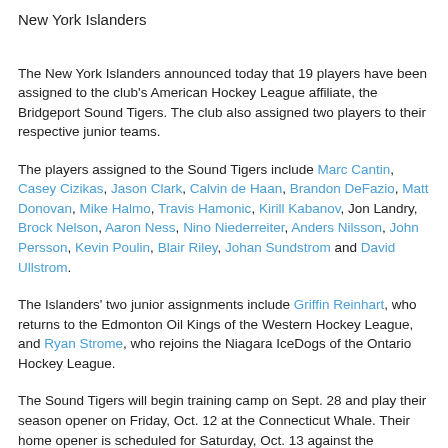New York Islanders
The New York Islanders announced today that 19 players have been assigned to the club's American Hockey League affiliate, the Bridgeport Sound Tigers. The club also assigned two players to their respective junior teams.
The players assigned to the Sound Tigers include Marc Cantin, Casey Cizikas, Jason Clark, Calvin de Haan, Brandon DeFazio, Matt Donovan, Mike Halmo, Travis Hamonic, Kirill Kabanov, Jon Landry, Brock Nelson, Aaron Ness, Nino Niederreiter, Anders Nilsson, John Persson, Kevin Poulin, Blair Riley, Johan Sundstrom and David Ullstrom.
The Islanders' two junior assignments include Griffin Reinhart, who returns to the Edmonton Oil Kings of the Western Hockey League, and Ryan Strome, who rejoins the Niagara IceDogs of the Ontario Hockey League.
The Sound Tigers will begin training camp on Sept. 28 and play their season opener on Friday, Oct. 12 at the Connecticut Whale. Their home opener is scheduled for Saturday, Oct. 13 against the Providence Bruins